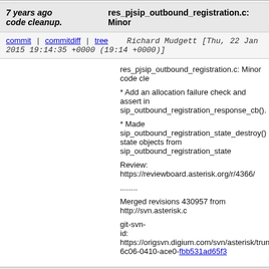7 years ago   res_pjsip_outbound_registration.c: Minor code cleanup.
commit | commitdiff | tree   Richard Mudgett [Thu, 22 Jan 2015 19:14:35 +0000 (19:14 +0000)]
res_pjsip_outbound_registration.c: Minor code cle...
* Add an allocation failure check and assert in sip_outbound_registration_response_cb().
* Made sip_outbound_registration_state_destroy() state objects from sip_outbound_registration_state...
Review: https://reviewboard.asterisk.org/r/4366/
........
Merged revisions 430957 from http://svn.asterisk.c...
git-svn-id: https://origsvn.digium.com/svn/asterisk/trunk@...6c06-0410-ace0-fbb531ad65f3
7 years ago   stasis transfer: fix a race condition on stasis bridge push
commit | commitdiff | tree   Scott Griepentrog [Thu, 22 Jan 2015 18:10:13 +0000 (18:10 +0000)]